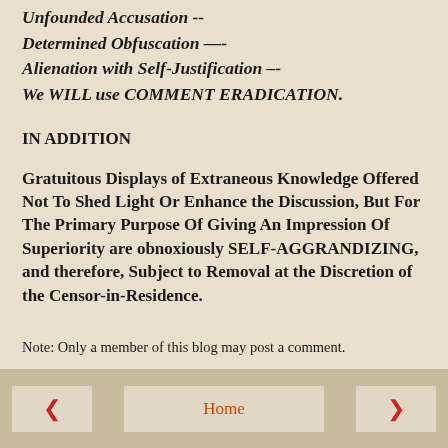Unfounded Accusation --
Determined Obfuscation —-
Alienation with Self-Justification –-
We WILL use COMMENT ERADICATION.
IN ADDITION
Gratuitous Displays of Extraneous Knowledge Offered Not To Shed Light Or Enhance the Discussion, But For The Primary Purpose Of Giving An Impression Of Superiority are obnoxiously SELF-AGGRANDIZING, and therefore, Subject to Removal at the Discretion of the Censor-in-Residence.
Note: Only a member of this blog may post a comment.
< Home >